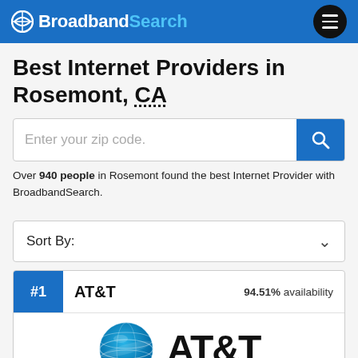Broadband Search
Best Internet Providers in Rosemont, CA
Enter your zip code.
Over 940 people in Rosemont found the best Internet Provider with BroadbandSearch.
Sort By:
#1 AT&T 94.51% availability
[Figure (logo): AT&T logo with blue globe icon and AT&T wordmark in black]